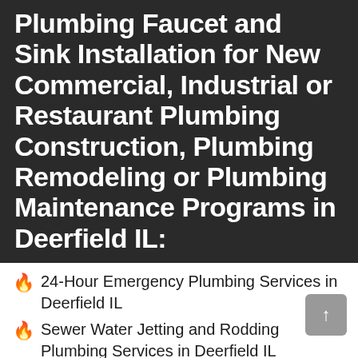Plumbing Faucet and Sink Installation for New Commercial, Industrial or Restaurant Plumbing Construction, Plumbing Remodeling or Plumbing Maintenance Programs in Deerfield IL:
24-Hour Emergency Plumbing Services in Deerfield IL
Sewer Water Jetting and Rodding Plumbing Services in Deerfield IL
Sump Pump Installation, Maintenance Services w/Battery Backup Systems and Services in Deerfield IL
Sewage Lift Station Repair [partially visible]